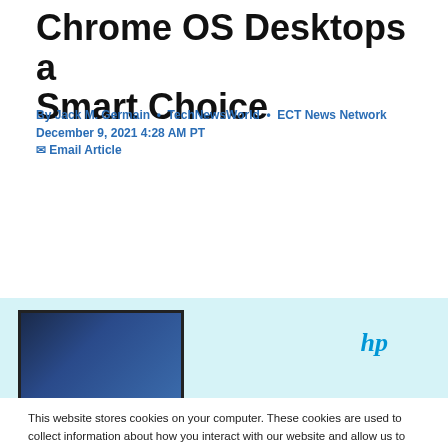Chrome OS Desktops a Smart Choice
By Jack M. Germain • TechNewsWorld • ECT News Network
December 9, 2021 4:28 AM PT
✉ Email Article
[Figure (photo): Light blue background with a monitor/desktop computer on the left and an HP logo on the right]
This website stores cookies on your computer. These cookies are used to collect information about how you interact with our website and allow us to remember you. We use this information in order to improve and customize your browsing experience and for analytics and metrics about our visitors both on this website and other media. To find out more about the cookies we use, see our Privacy Policy. California residents have the right to direct us not to sell their personal information to third parties by filing an Opt-Out Request: Do Not Sell My Personal Info.